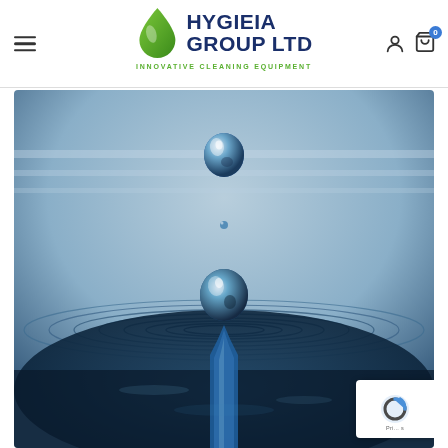Hygieia Group Ltd - Innovative Cleaning Equipment
[Figure (logo): Hygieia Group Ltd logo with green water drop icon and text 'HYGIEIA GROUP LTD' in dark blue, tagline 'INNOVATIVE CLEANING EQUIPMENT' in green]
[Figure (photo): Close-up macro photograph of a water droplet splash showing a droplet in mid-air above concentric ripples on a water surface, with a column of water below, blue tones]